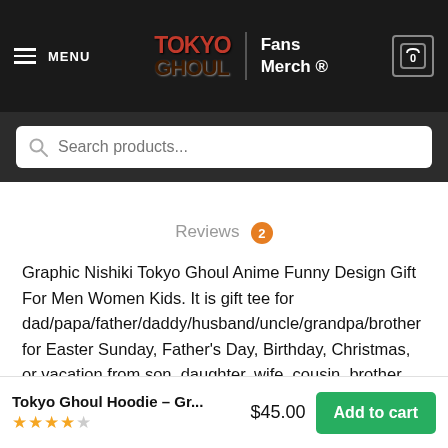MENU | Tokyo Ghoul Fans Merch ® | Cart 0
Search products...
Reviews 2
Graphic Nishiki Tokyo Ghoul Anime Funny Design Gift For Men Women Kids. It is gift tee for dad/papa/father/daddy/husband/uncle/grandpa/brother for Easter Sunday, Father's Day, Birthday, Christmas, or vacation from son, daughter, wife, cousin, brother, sister, nephew, or niece. Check out our store for more funny and novelty tees that will become your favorite. Buy it now and make it a great gift for yourself or that special someone.
Tokyo Ghoul Hoodie – Gr... $45.00 Add to cart ★★★★☆